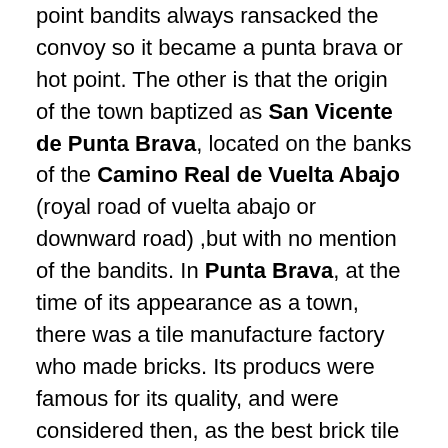point bandits always ransacked the convoy so it became a punta brava or hot point. The other is that the origin of the town baptized as San Vicente de Punta Brava, located on the banks of the Camino Real de Vuelta Abajo (royal road of vuelta abajo or downward road) ,but with no mention of the bandits. In Punta Brava, at the time of its appearance as a town, there was a tile manufacture factory who made bricks. Its producs were famous for its quality, and were considered then, as the best brick tile in Cuba. In this town there were also large pineapple packers ((and as boy it was gone and we played baseball!), destemming, packing and tobacco picking workshops, cart and car workshop, and Maidenform women undergarment (my mother worked) as well as other establishments that show the economic development reached by Punta Brava at the end of the 19C.